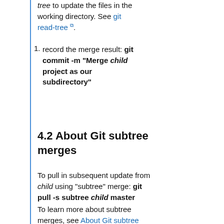tree to update the files in the working directory. See git read-tree ↗.
record the merge result: git commit -m "Merge child project as our subdirectory"
4.2 About Git subtree merges
To pull in subsequent update from child using "subtree" merge: git pull -s subtree child master
To learn more about subtree merges, see About Git subtree